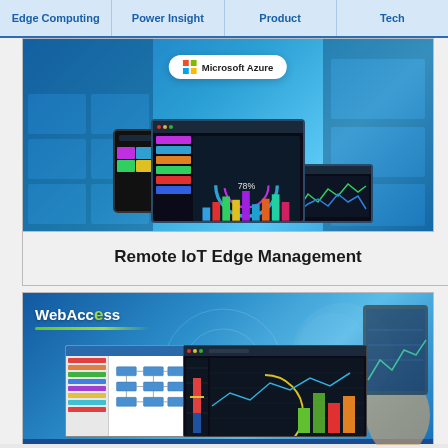Edge Computing | Power Insight | Product | Tech
[Figure (screenshot): Microsoft Azure cloud IoT edge management platform showing devices, dashboards, and cloud connectivity]
Remote IoT Edge Management
[Figure (screenshot): WebAccess SCADA software interface showing process flow diagrams and real-time data charts with bar graphs and trend curves]